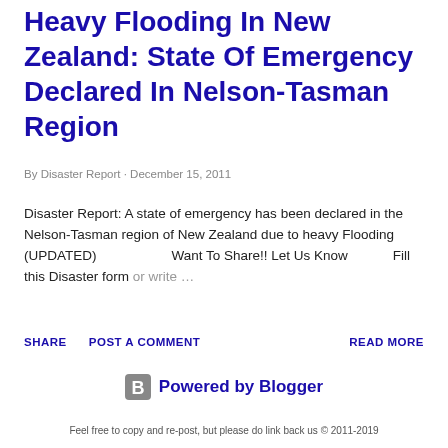Heavy Flooding In New Zealand: State Of Emergency Declared In Nelson-Tasman Region
By Disaster Report · December 15, 2011
Disaster Report: A state of emergency has been declared in the Nelson-Tasman region of New Zealand due to heavy Flooding (UPDATED)                    Want To Share!! Let Us Know                Fill this Disaster form or write …
SHARE   POST A COMMENT   READ MORE
[Figure (logo): Powered by Blogger logo with orange/grey Blogger icon and blue text]
Feel free to copy and re-post, but please do link back us © 2011-2019